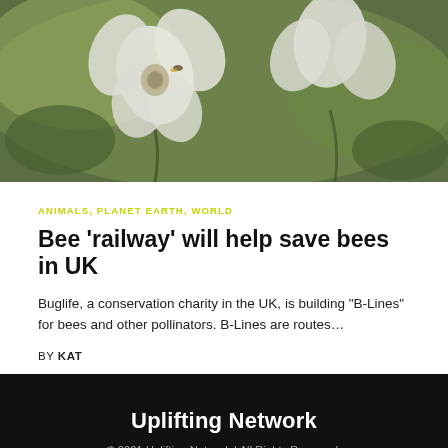[Figure (photo): Close-up photo of white flowers with green leaves and blurred background, bees or insects possibly visible]
ANIMALS, PLANET EARTH, WORLD
Bee 'railway' will help save bees in UK
Buglife, a conservation charity in the UK, is building "B-Lines" for bees and other pollinators. B-Lines are routes…
BY KAT
Uplifting Network
© 2021 Uplifting Network | All Rights Reserved.